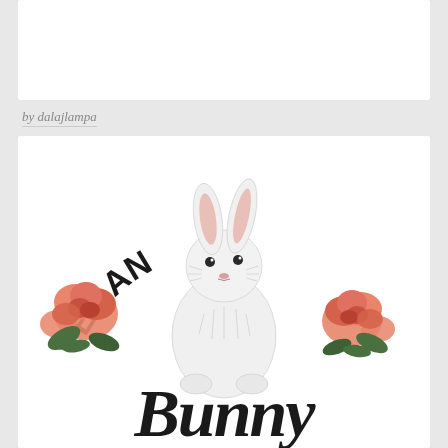by dalajlampa
[Figure (logo): The Vegan Bunny logo: arched text 'THE VEGAN' at top in bold condensed black letters, a white illustrated rabbit in the center with two pink roses at its sides, and cursive script 'Bunny' below]